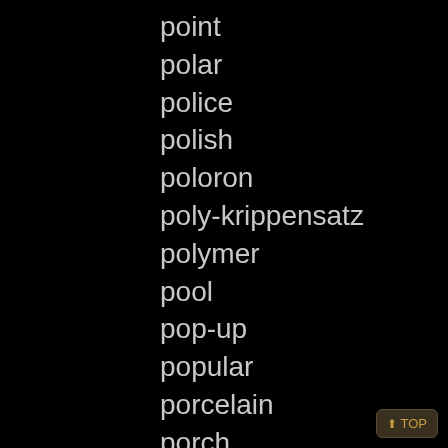point
polar
police
polish
poloron
poly-krippensatz
polymer
pool
pop-up
popular
porcelain
porch
portmeirion
porzellanglocke
posable
poseable
possible
post
⬆ TOP